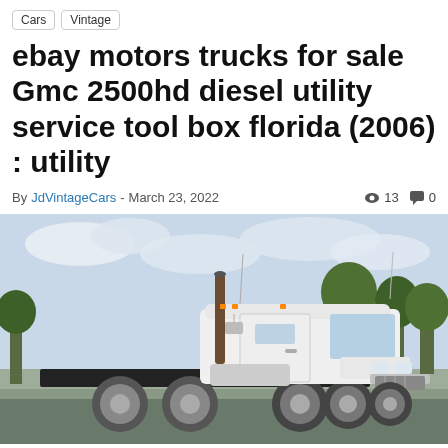Cars
Vintage
ebay motors trucks for sale Gmc 2500hd diesel utility service tool box florida (2006) : utility
By JdVintageCars - March 23, 2022   👁 13  💬 0
[Figure (photo): White semi-truck / daycab tractor parked in a lot with trees in background, overcast sky]